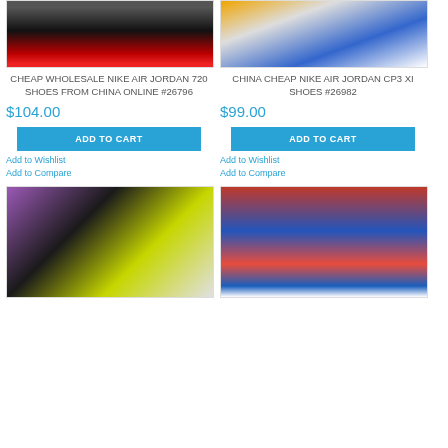[Figure (photo): Shoe product image - Nike Air Jordan 720, view from bottom showing red sole]
CHEAP WHOLESALE NIKE AIR JORDAN 720 SHOES FROM CHINA ONLINE #26796
$104.00
ADD TO CART
Add to Wishlist
Add to Compare
[Figure (photo): Shoe product image - Nike Air Jordan CP3 XI, colorful sneaker in gold, blue, white]
CHINA CHEAP NIKE AIR JORDAN CP3 XI SHOES #26982
$99.00
ADD TO CART
Add to Wishlist
Add to Compare
[Figure (photo): Shoe product image - black and yellow/green sneaker bottom view]
[Figure (photo): Shoe product image - person wearing colorful red and blue Nike Air Jordan shoes standing on ledge outdoors]